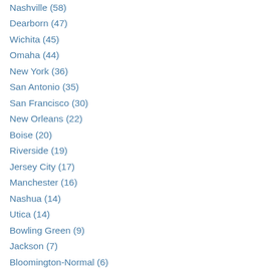Nashville (58)
Dearborn (47)
Wichita (45)
Omaha (44)
New York (36)
San Antonio (35)
San Francisco (30)
New Orleans (22)
Boise (20)
Riverside (19)
Jersey City (17)
Manchester (16)
Nashua (14)
Utica (14)
Bowling Green (9)
Jackson (7)
Bloomington-Normal (6)
Cincinnati (1)
Religions
Christianity (25,44)